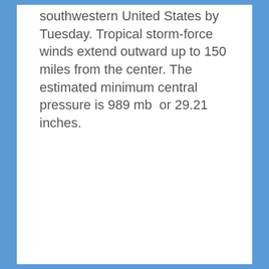southwestern United States by Tuesday. Tropical storm-force winds extend outward up to 150 miles from the center. The estimated minimum central pressure is 989 mb  or 29.21 inches.